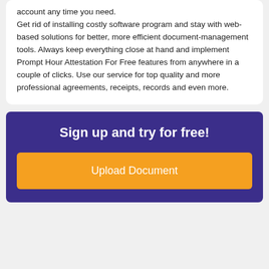account any time you need.

Get rid of installing costly software program and stay with web-based solutions for better, more efficient document-management tools. Always keep everything close at hand and implement Prompt Hour Attestation For Free features from anywhere in a couple of clicks. Use our service for top quality and more professional agreements, receipts, records and even more.
Sign up and try for free!
Upload Document